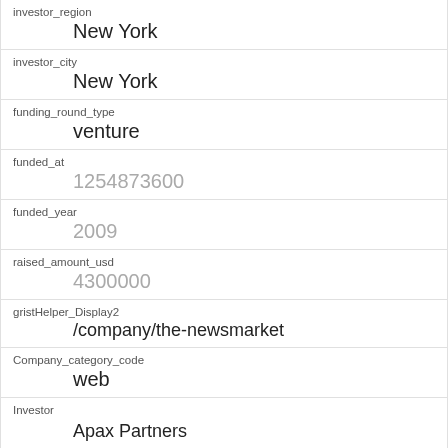| Field | Value |
| --- | --- |
| investor_region | New York |
| investor_city | New York |
| funding_round_type | venture |
| funded_at | 1254873600 |
| funded_year | 2009 |
| raised_amount_usd | 4300000 |
| gristHelper_Display2 | /company/the-newsmarket |
| Company_category_code | web |
| Investor | Apax Partners
https://www.crunchbase.com/financial-organization/apax-partners |